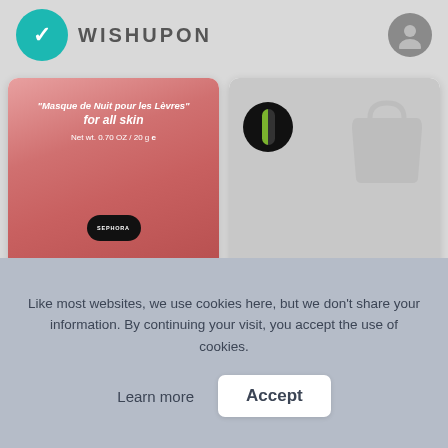WISHUPON
[Figure (photo): Laneige Lip Sleeping Mask product image with pink/red packaging, Sephora badge, text 'Masque de Nuit pour les Lèvres for all skin Net wt. 0.70 OZ / 20 g']
Laneige Lip Sleeping Mask
A$28.00
[Figure (photo): LANEIGE Lip Sleeping Mask product with grey background, circle logo with green/black design, partial bag shape visible]
LANEIGE | Lip Sleeping Mask -...
€22.95
Like most websites, we use cookies here, but we don't share your information. By continuing your visit, you accept the use of cookies.
Learn more
Accept